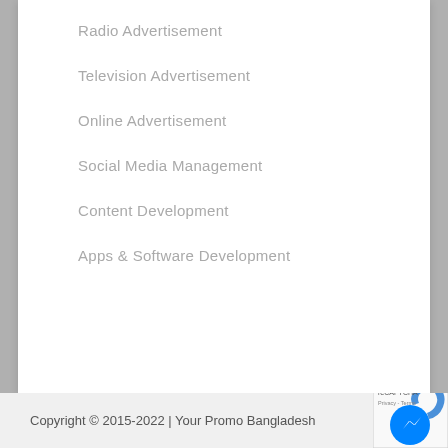Radio Advertisement
Television Advertisement
Online Advertisement
Social Media Management
Content Development
Apps & Software Development
Copyright © 2015-2022 | Your Promo Bangladesh